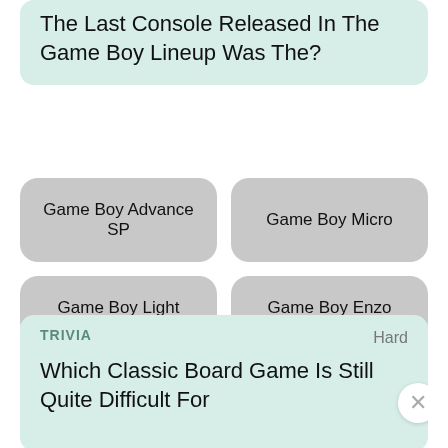The Last Console Released In The Game Boy Lineup Was The?
Game Boy Advance SP
Game Boy Micro
Game Boy Light
Game Boy Enzo
TRIVIA
Hard
Which Classic Board Game Is Still Quite Difficult For